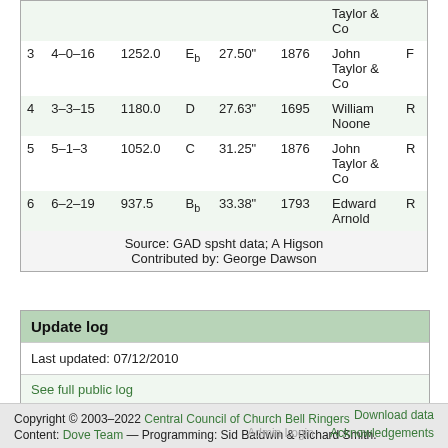| # | Weight | cwt | Note | Diameter | Year | Founder |  |
| --- | --- | --- | --- | --- | --- | --- | --- |
|  |  |  |  |  |  | Taylor & Co |  |
| 3 | 4–0–16 | 1252.0 | Eb | 27.50" | 1876 | John Taylor & Co | F |
| 4 | 3–3–15 | 1180.0 | D | 27.63" | 1695 | William Noone | R |
| 5 | 5–1–3 | 1052.0 | C | 31.25" | 1876 | John Taylor & Co | R |
| 6 | 6–2–19 | 937.5 | Bb | 33.38" | 1793 | Edward Arnold | R |
| Source: GAD spsht data; A Higson
Contributed by: George Dawson |  |  |  |  |  |  |  |
Update log
Last updated: 07/12/2010
See full public log
Copyright © 2003–2022 Central Council of Church Bell Ringers
Content: Dove Team — Programming: Sid Baldwin & Richard Smith.
Download data
Acknowledgements
Admin Login